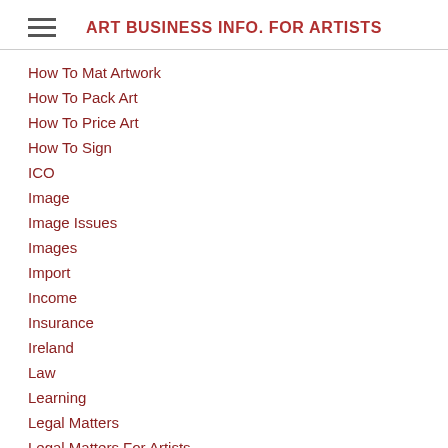ART BUSINESS INFO. FOR ARTISTS
How To Mat Artwork
How To Pack Art
How To Price Art
How To Sign
ICO
Image
Image Issues
Images
Import
Income
Insurance
Ireland
Law
Learning
Legal Matters
Legal Matters For Artists
Marketing